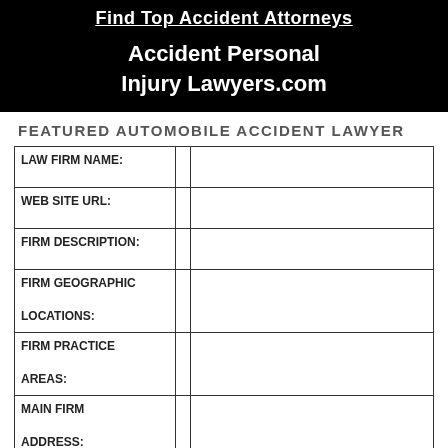[Figure (other): Black banner with 'Find Top Accident Attorneys' link and 'Accident Personal Injury Lawyers.com' title in white text]
FEATURED AUTOMOBILE ACCIDENT LAWYER
| LAW FIRM NAME: |  |  |
| WEB SITE URL: |  |  |
| FIRM DESCRIPTION: |  |  |
| FIRM GEOGRAPHIC LOCATIONS: |  |  |
| FIRM PRACTICE AREAS: |  |  |
| MAIN FIRM ADDRESS: |  |  |
| PHONE #: |  |  |
| FAX #: |  |  |